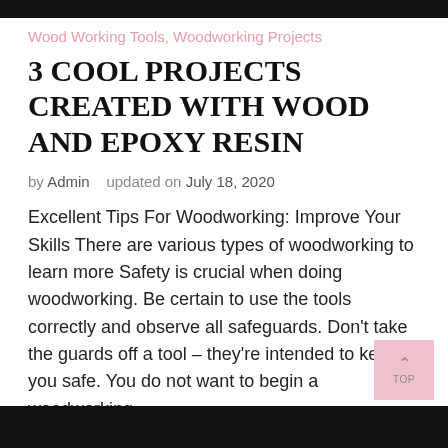Wood Working Tools, Woodworking Projects
3 COOL PROJECTS CREATED WITH WOOD AND EPOXY RESIN
by Admin   updated on July 18, 2020
Excellent Tips For Woodworking: Improve Your Skills There are various types of woodworking to learn more Safety is crucial when doing woodworking. Be certain to use the tools correctly and observe all safeguards. Don't take the guards off a tool – they're intended to keep you safe. You do not want to begin a woodworking …